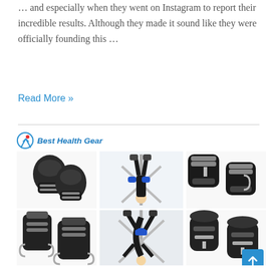… and especially when they went on Instagram to report their incredible results. Although they made it sound like they were officially founding this …
Read More »
[Figure (photo): Best Health Gear branded collage showing inversion boots/ankle gravity boots products in six images arranged in a 3x2 grid, with a person using an inversion table in the center top image.]